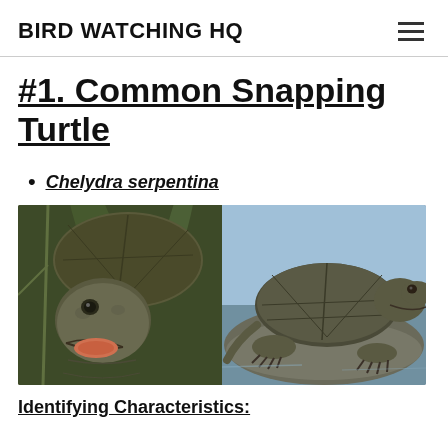BIRD WATCHING HQ
#1. Common Snapping Turtle
Chelydra serpentina
[Figure (photo): Two photos side by side of a Common Snapping Turtle: left photo shows a close-up of the turtle's face with open mouth, right photo shows the full turtle on a rock near water.]
Identifying Characteristics: